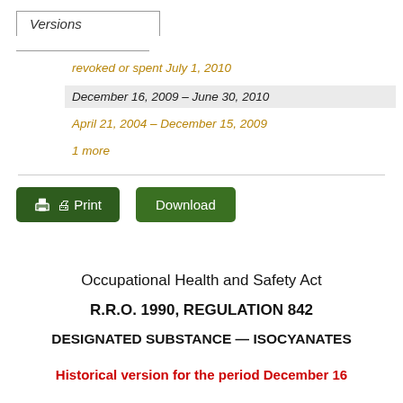Versions
revoked or spent July 1, 2010
December 16, 2009 – June 30, 2010
April 21, 2004 – December 15, 2009
1 more
Print   Download
Occupational Health and Safety Act
R.R.O. 1990, REGULATION 842
DESIGNATED SUBSTANCE — ISOCYANATES
Historical version for the period December 16